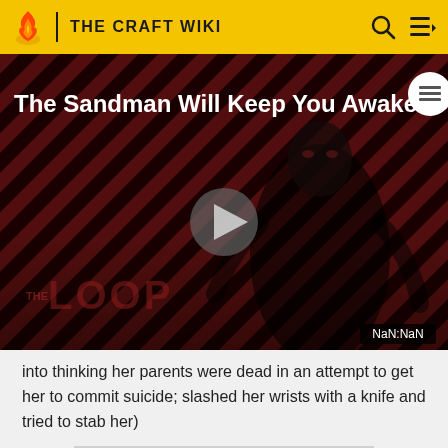THE CRAFT WIKI
[Figure (screenshot): Video thumbnail for 'The Sandman Will Keep You Awake.' showing a dark figure against diagonal red-and-black striped background, with a play button in the center, 'THE LOOP' watermark, and 'NaN:NaN' timestamp in the corner.]
into thinking her parents were dead in an attempt to get her to commit suicide; slashed her wrists with a knife and tried to stab her)
[Figure (other): Gray advertisement placeholder rectangle]